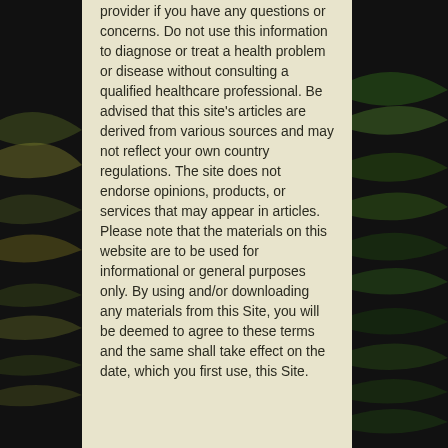provider if you have any questions or concerns. Do not use this information to diagnose or treat a health problem or disease without consulting a qualified healthcare professional. Be advised that this site's articles are derived from various sources and may not reflect your own country regulations. The site does not endorse opinions, products, or services that may appear in articles. Please note that the materials on this website are to be used for informational or general purposes only. By using and/or downloading any materials from this Site, you will be deemed to agree to these terms and the same shall take effect on the date, which you first use, this Site.